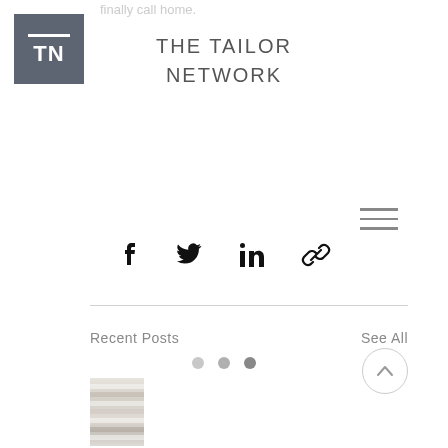finally call home.
[Figure (logo): The Tailor Network logo: grey square with white horizontal line above TN letters]
THE TAILOR NETWORK
[Figure (infographic): Hamburger menu icon (three horizontal lines)]
[Figure (infographic): Social share icons row: Facebook, Twitter, LinkedIn, link/chain]
Recent Posts
See All
[Figure (photo): Thumbnail image of light wood or marble texture]
[Figure (infographic): Pagination dots (three dots) and back-to-top chevron button]